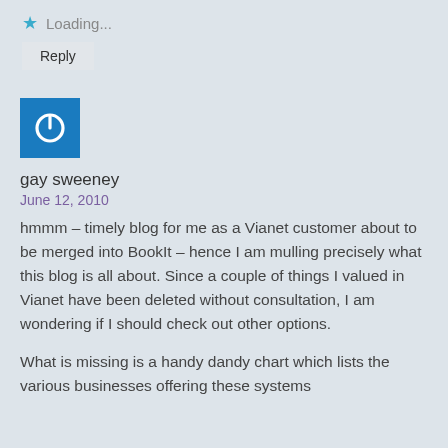★ Loading...
Reply
[Figure (illustration): Blue square avatar with white power button icon]
gay sweeney
June 12, 2010
hmmm – timely blog for me as a Vianet customer about to be merged into BookIt – hence I am mulling precisely what this blog is all about. Since a couple of things I valued in Vianet have been deleted without consultation, I am wondering if I should check out other options.
What is missing is a handy dandy chart which lists the various businesses offering these systems